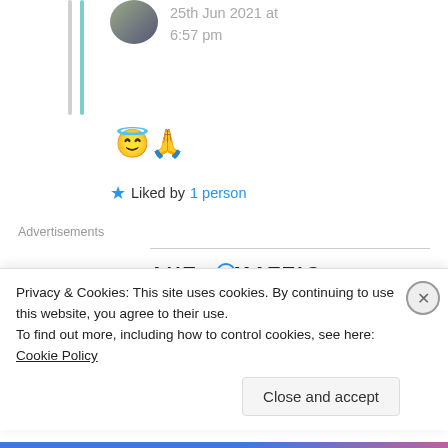25th Jun 2021 at 6:57 pm
😇🙏
★ Liked by 1 person
Advertisements
[Figure (logo): AUTOMATTIC logo with stylized O]
Build a better web and a better world.
Privacy & Cookies: This site uses cookies. By continuing to use this website, you agree to their use.
To find out more, including how to control cookies, see here: Cookie Policy
Close and accept